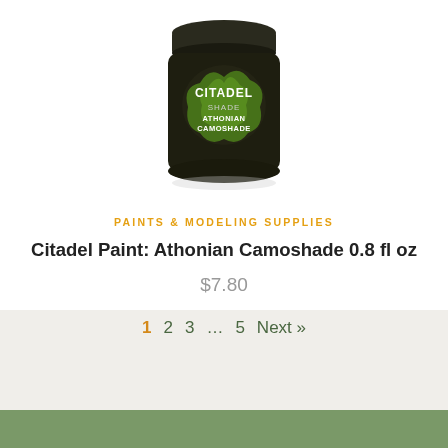[Figure (photo): A small dark jar of Citadel Shade Athonian Camoshade paint with a black lid and green paint design on the label, shown from the front.]
PAINTS & MODELING SUPPLIES
Citadel Paint: Athonian Camoshade 0.8 fl oz
$7.80
1  2  3 ...  5  Next »